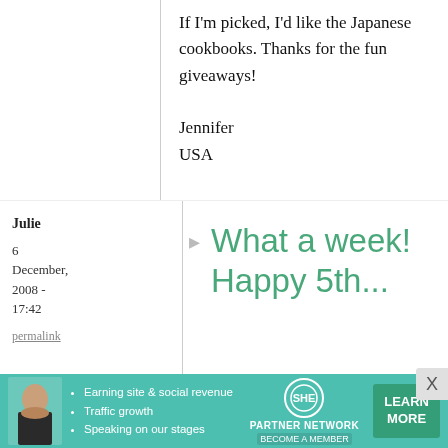If I'm picked, I'd like the Japanese cookbooks. Thanks for the fun giveaways!

Jennifer
USA
Julie
6 December, 2008 - 17:42
permalink
What a week! Happy 5th...
[Figure (infographic): SHE Partner Network advertisement banner with woman photo, bullet points about earning site & social revenue, traffic growth, speaking on our stages, SHE logo, and LEARN MORE button]